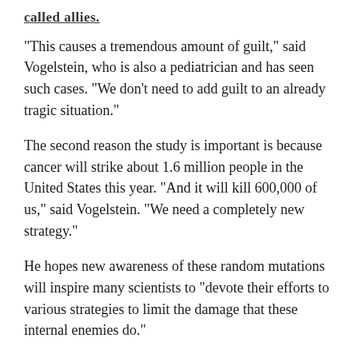called allies.
"This causes a tremendous amount of guilt," said Vogelstein, who is also a pediatrician and has seen such cases. "We don't need to add guilt to an already tragic situation."
The second reason the study is important is because cancer will strike about 1.6 million people in the United States this year. "And it will kill 600,000 of us," said Vogelstein. "We need a completely new strategy."
He hopes new awareness of these random mutations will inspire many scientists to "devote their efforts to various strategies to limit the damage that these internal enemies do."
"The first step is simply recognizing these enemies exist," said Vogelstein.